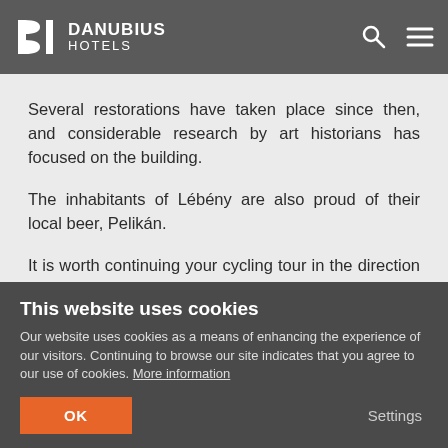DANUBIUS HOTELS
special architectural importance of the church. Several restorations have taken place since then, and considerable research by art historians has focused on the building.
The inhabitants of Lébény are also proud of their local beer, Pelikán.
It is worth continuing your cycling tour in the direction of Tárnokréti, through the Fertő-Hanság Natural Park, which boasts rich bird species (Lake Fehér and Lake Babarcsi).
This website uses cookies
Our website uses cookies as a means of enhancing the experience of our visitors. Continuing to browse our site indicates that you agree to our use of cookies. More information
OK
Settings